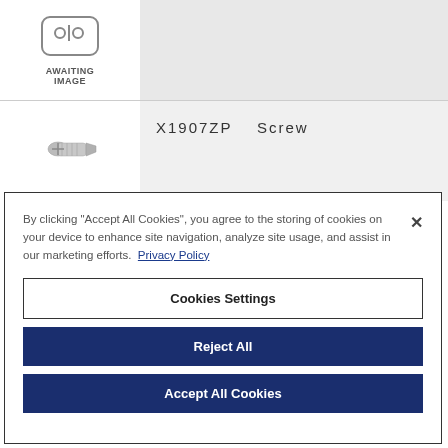[Figure (illustration): Awaiting image placeholder icon — circle with two small circles inside, labeled AWAITING IMAGE]
X1907ZP   Screw
[Figure (photo): Photo of a small metallic screw]
By clicking "Accept All Cookies", you agree to the storing of cookies on your device to enhance site navigation, analyze site usage, and assist in our marketing efforts.  Privacy Policy
Cookies Settings
Reject All
Accept All Cookies